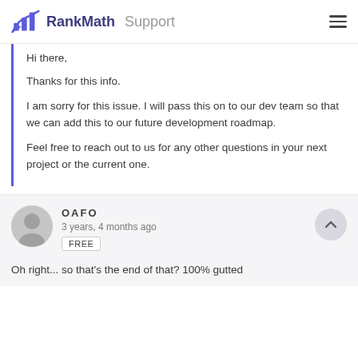RankMath Support
Hi there,
Thanks for this info.
I am sorry for this issue. I will pass this on to our dev team so that we can add this to our future development roadmap.
Feel free to reach out to us for any other questions in your next project or the current one.
OAFO
3 years, 4 months ago
FREE
Oh right... so that's the end of that? 100% gutted